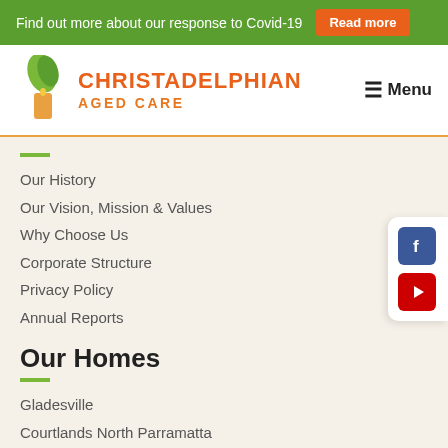Find out more about our response to Covid-19  Read more
[Figure (logo): Christadelphian Aged Care logo with green leaf and orange candle icon]
CHRISTADELPHIAN AGED CARE
≡ Menu
Our History
Our Vision, Mission & Values
Why Choose Us
Corporate Structure
Privacy Policy
Annual Reports
Our Homes
Gladesville
Courtlands North Parramatta
Kallangur